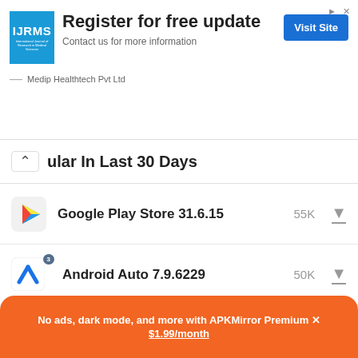[Figure (screenshot): IJRMS advertisement banner with logo, 'Register for free update' headline, Visit Site button, and Medip Healthtech Pvt Ltd branding]
Popular In Last 30 Days
Google Play Store 31.6.15 - 55K
Android Auto 7.9.6229 - 50K
Xiaomi Themes 2.0.9.3-global - 46K
Google Play Store 31.7.16 - 46K
No ads, dark mode, and more with APKMirror Premium × $1.99/month